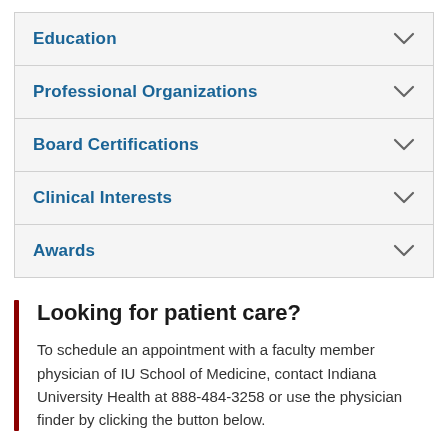Education
Professional Organizations
Board Certifications
Clinical Interests
Awards
Looking for patient care?
To schedule an appointment with a faculty member physician of IU School of Medicine, contact Indiana University Health at 888-484-3258 or use the physician finder by clicking the button below.